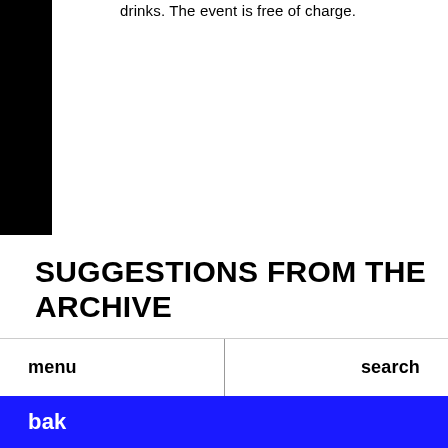drinks. The event is free of charge.
SUGGESTIONS FROM THE ARCHIVE
PUBLIC PROGRAM
14 JUNE 2022, 18.00–20.00
Hamburg Public Editorial Meeting: Spectral Infrastructure
menu   search   bak